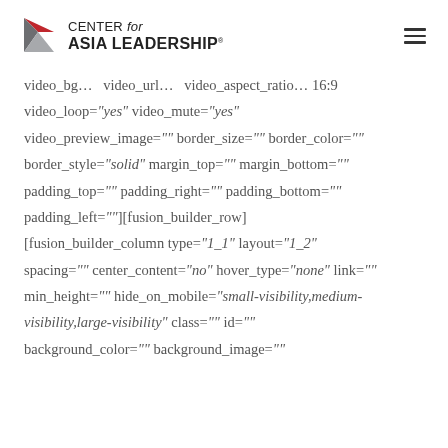CENTER for ASIA LEADERSHIP
video_bg… video_url… video_aspect_ratio… 16:9 video_loop="yes" video_mute="yes" video_preview_image="" border_size="" border_color="" border_style="solid" margin_top="" margin_bottom="" padding_top="" padding_right="" padding_bottom="" padding_left=""][fusion_builder_row] [fusion_builder_column type="1_1" layout="1_2" spacing="" center_content="no" hover_type="none" link="" min_height="" hide_on_mobile="small-visibility,medium-visibility,large-visibility" class="" id="" background_color="" background_image=""